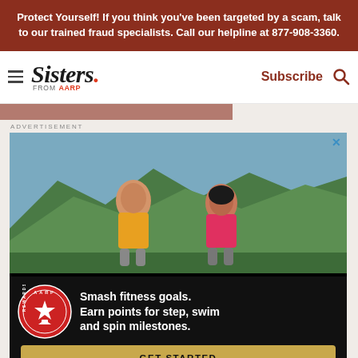Protect Yourself! If you think you've been targeted by a scam, talk to our trained fraud specialists. Call our helpline at 877-908-3360.
[Figure (logo): Sisters from AARP logo with hamburger menu, Subscribe and search icons in navigation bar]
[Figure (photo): Two people running outdoors with mountains in background — AARP Rewards advertisement. Smash fitness goals. Earn points for step, swim and spin milestones. GET STARTED button.]